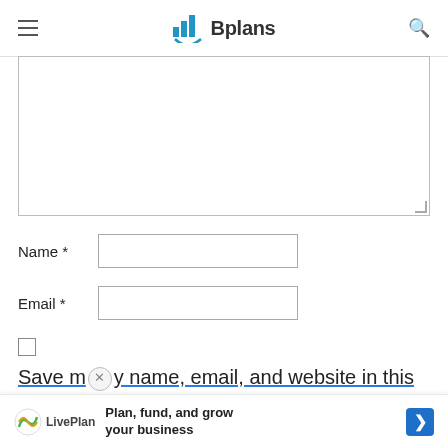Bplans
[Figure (screenshot): Text area input box, partially visible, empty]
Name *
Email *
Save my name, email, and website in this brows
[Figure (infographic): LivePlan banner: Plan, fund, and grow your business]